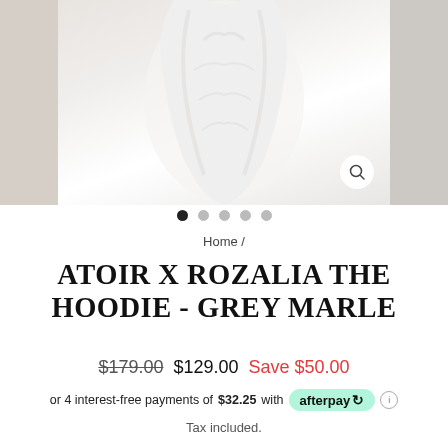[Figure (photo): Product photo carousel showing a white hoodie worn by a model. Center image is in focus, partial side images visible on left and right. Zoom/search button in bottom right of center image.]
• • • • •  (5 carousel dots, first filled)
Home /
ATOIR X ROZALIA THE HOODIE - GREY MARLE
$179.00  $129.00  Save $50.00
or 4 interest-free payments of $32.25 with afterpay ℹ
Tax included.